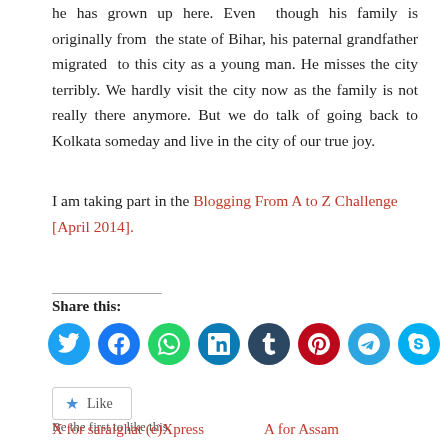he has grown up here. Even though his family is originally from the state of Bihar, his paternal grandfather migrated to this city as a young man. He misses the city terribly. We hardly visit the city now as the family is not really there anymore. But we do talk of going back to Kolkata someday and live in the city of our true joy.
I am taking part in the Blogging From A to Z Challenge [April 2014].
Share this:
[Figure (infographic): Row of social media sharing icon circles: Twitter (blue), Facebook (blue), WhatsApp (green), LinkedIn (teal), Tumblr (dark navy), Pinterest (red), Telegram (blue), Skype (blue), Email (light gray)]
Like
Be the first to like this.
X for saraighat (e)Xpress    A for Assam